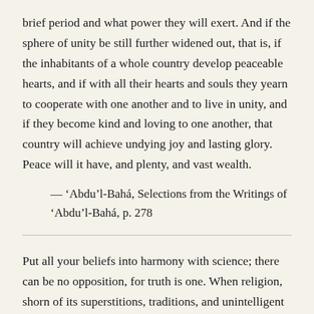brief period and what power they will exert. And if the sphere of unity be still further widened out, that is, if the inhabitants of a whole country develop peaceable hearts, and if with all their hearts and souls they yearn to cooperate with one another and to live in unity, and if they become kind and loving to one another, that country will achieve undying joy and lasting glory. Peace will it have, and plenty, and vast wealth.
— ‘Abdu’l-Bahá, Selections from the Writings of ‘Abdu’l-Bahá, p. 278
Put all your beliefs into harmony with science; there can be no opposition, for truth is one. When religion, shorn of its superstitions, traditions, and unintelligent dogmas, shows its conformity with science, then will there be a great